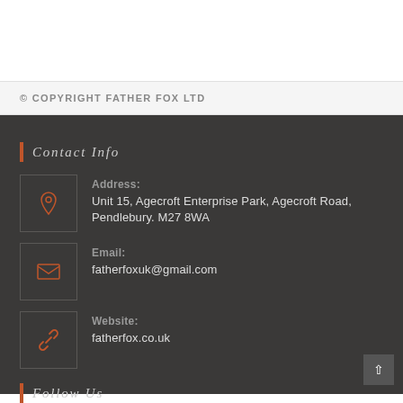© COPYRIGHT FATHER FOX LTD
Contact Info
Address: Unit 15, Agecroft Enterprise Park, Agecroft Road, Pendlebury. M27 8WA
Email: fatherfoxuk@gmail.com
Website: fatherfox.co.uk
Follow Us